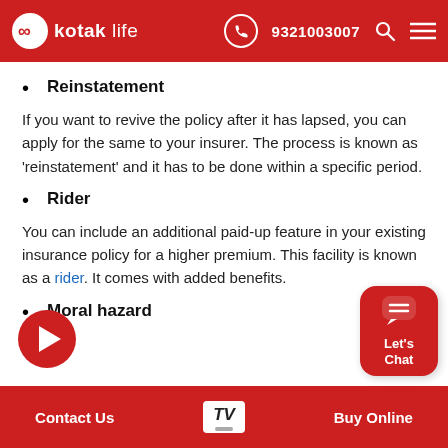Kotak Life | 9321003007
Reinstatement
If you want to revive the policy after it has lapsed, you can apply for the same to your insurer. The process is known as 'reinstatement' and it has to be done within a specific period.
Rider
You can include an additional paid-up feature in your existing insurance policy for a higher premium. This facility is known as a rider. It comes with added benefits.
Moral hazard
Contact Us | TV | Buy Online